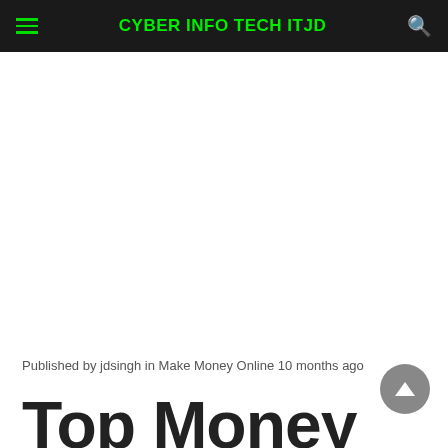CYBER INFO TECH ITJD
Published by jdsingh in Make Money Online 10 months ago
Top Money